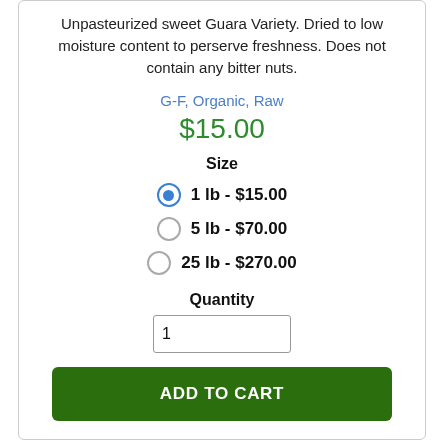Unpasteurized sweet Guara Variety. Dried to low moisture content to perserve freshness. Does not contain any bitter nuts.
G-F, Organic, Raw
$15.00
Size
1 lb - $15.00
5 lb - $70.00
25 lb - $270.00
Quantity
1
ADD TO CART
TOP OF PAGE
[Figure (photo): Almonds or similar nuts shown at the bottom of the page]